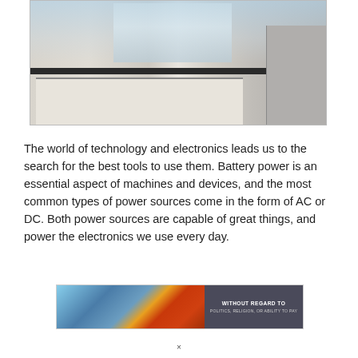[Figure (photo): Modern kitchen with white cabinets, black countertop, stainless steel refrigerator, and a window with natural light in the background]
The world of technology and electronics leads us to the search for the best tools to use them. Battery power is an essential aspect of machines and devices, and the most common types of power sources come in the form of AC or DC. Both power sources are capable of great things, and power the electronics we use every day.
[Figure (photo): Advertisement banner showing an airplane being loaded with cargo on the left side, and a dark panel on the right reading 'WITHOUT REGARD TO POLITICS, RELIGION, OR ABILITY TO PAY']
×